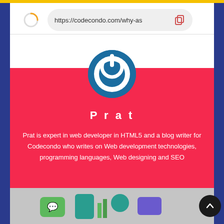[Figure (screenshot): Mobile browser screenshot showing codecondo.com URL bar with copy icon]
[Figure (logo): Codecondo power button logo — circular teal/blue ring with white power symbol]
Prat
Prat is expert in web developer in HTML5 and a blog writer for Codecondo who writes on Web development technologies, programming languages, Web designing and SEO
[Figure (illustration): Bottom strip with colorful technology/social media icons on gray background]